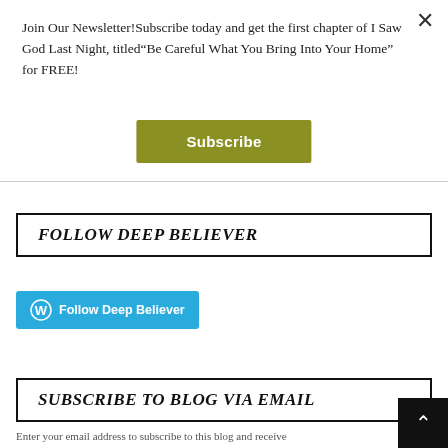Join Our Newsletter!Subscribe today and get the first chapter of I Saw God Last Night, titled“Be Careful What You Bring Into Your Home” for FREE!
Subscribe
FOLLOW DEEP BELIEVER
[Figure (logo): WordPress Follow Deep Believer button in blue]
SUBSCRIBE TO BLOG VIA EMAIL
Enter your email address to subscribe to this blog and receive...